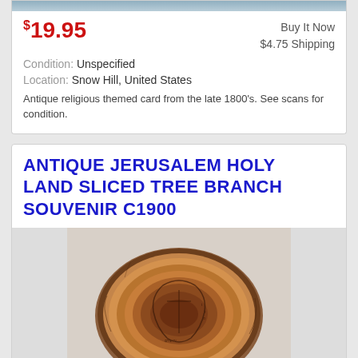[Figure (screenshot): Top portion of an eBay-style product listing card showing a partial image at top]
$19.95
Buy It Now
$4.75 Shipping
Condition: Unspecified
Location: Snow Hill, United States
Antique religious themed card from the late 1800's. See scans for condition.
ANTIQUE JERUSALEM HOLY LAND SLICED TREE BRANCH SOUVENIR C1900
[Figure (photo): Photo of a sliced tree branch souvenir from Jerusalem Holy Land, circa 1900, showing wood grain rings and engraved religious imagery]